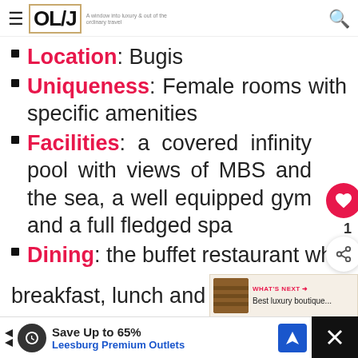OL/J — A window into luxury & out of the ordinary travel
Location: Bugis
Uniqueness: Female rooms with specific amenities
Facilities: a covered infinity pool with views of MBS and the sea, a well equipped gym and a full fledged spa
Dining: the buffet restaurant wh... breakfast, lunch and dinner are... one of the best I have ever seen and the